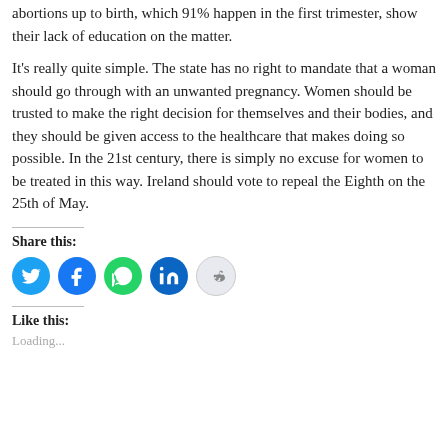abortions up to birth, which 91% happen in the first trimester, show their lack of education on the matter.
It's really quite simple. The state has no right to mandate that a woman should go through with an unwanted pregnancy. Women should be trusted to make the right decision for themselves and their bodies, and they should be given access to the healthcare that makes doing so possible. In the 21st century, there is simply no excuse for women to be treated in this way. Ireland should vote to repeal the Eighth on the 25th of May.
Share this:
[Figure (other): Social sharing icons: Twitter (blue circle), Facebook (blue circle), WhatsApp (green circle), LinkedIn (dark blue circle), Reddit (light grey circle)]
Like this:
Loading...